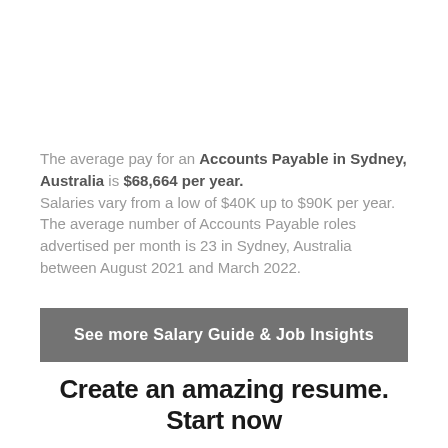The average pay for an Accounts Payable in Sydney, Australia is $68,664 per year. Salaries vary from a low of $40K up to $90K per year. The average number of Accounts Payable roles advertised per month is 23 in Sydney, Australia between August 2021 and March 2022.
See more Salary Guide & Job Insights
Create an amazing resume. Start now